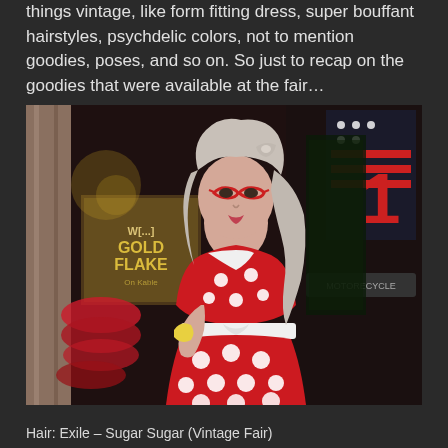things vintage, like form fitting dress, super bouffant hairstyles, psychdelic colors, not to mention goodies, poses, and so on. So just to recap on the goodies that were available at the fair...
[Figure (photo): A 3D rendered character in a vintage-style red polka dot strapless dress with white belt, wearing red cat-eye glasses, holding a yellow item, with blonde/grey wavy hair with a bow. Background shows a carnival/fair setting with a 'Wild Gold Flake' sign on the left and a red and white '1' sign on the right.]
Hair: Exile – Sugar Sugar (Vintage Fair)